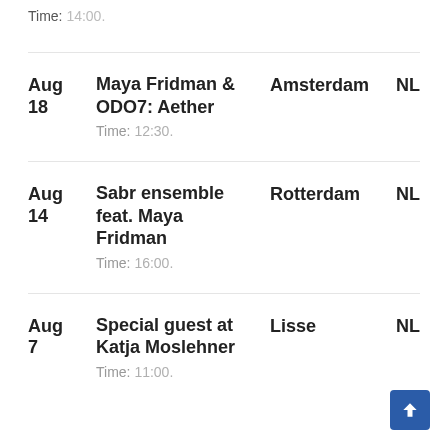Time: 14:00.
Aug 18 | Maya Fridman & ODO7: Aether | Amsterdam | NL | Time: 12:30.
Aug 14 | Sabr ensemble feat. Maya Fridman | Rotterdam | NL | Time: 16:00.
Aug 7 | Special guest at Katja Moslehner | Lisse | NL | Time: 11:00.